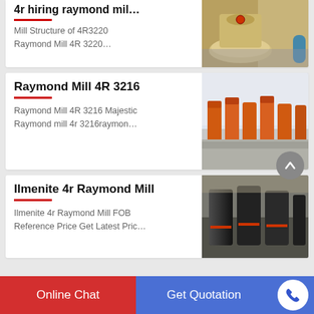4r hiring raymond mil…
Mill Structure of 4R3220 Raymond Mill 4R 3220…
[Figure (photo): Photo of a large beige/tan Raymond mill machine in a factory setting]
Raymond Mill 4R 3216
Raymond Mill 4R 3216 Majestic Raymond mill 4r 3216raymon…
[Figure (photo): Photo of multiple orange Raymond mill machines lined up in a factory courtyard]
Ilmenite 4r Raymond Mill
Ilmenite 4r Raymond Mill FOB Reference Price Get Latest Pric…
[Figure (photo): Photo of dark/black cylindrical Raymond mill components in a warehouse]
Online Chat
Get Quotation